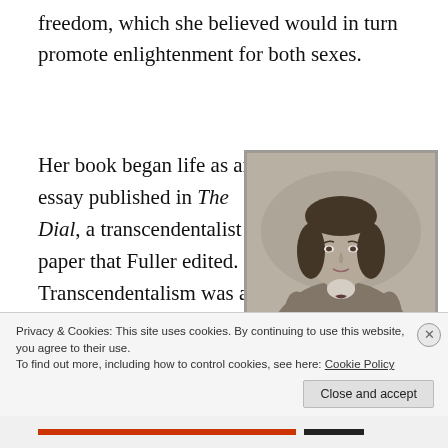freedom, which she believed would in turn promote enlightenment for both sexes.
Her book began life as an essay published in The Dial, a transcendentalist paper that Fuller edited. Transcendentalism was a religious and philosophical movement of the time. Central beliefs included the
[Figure (photo): A black-and-white engraved portrait of a woman in 19th-century dress, seated and holding a book, with braided hair.]
Privacy & Cookies: This site uses cookies. By continuing to use this website, you agree to their use.
To find out more, including how to control cookies, see here: Cookie Policy
Close and accept